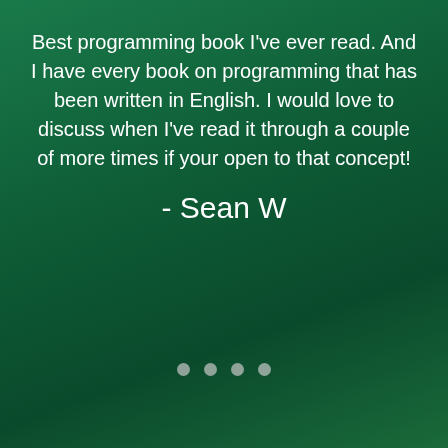Best programming book I've ever read. And I have every book on programming that has been written in English. I would love to discuss when I've read it through a couple of more times if your open to that concept!
- Sean W
[Figure (other): Four navigation dots (carousel indicators), light gray circles]